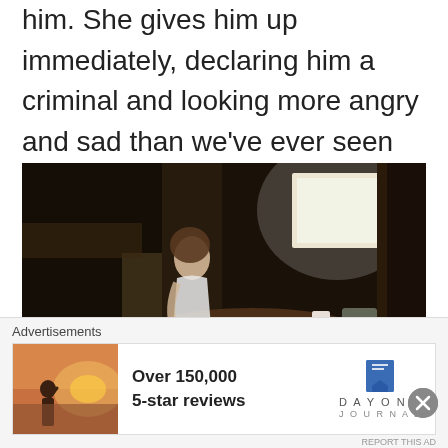him. She gives him up immediately, declaring him a criminal and looking more angry and sad than we've ever seen her.
[Figure (photo): A woman in a white dress standing in a dark, dimly lit room with a table, dishes, and a bright window in the background.]
[Figure (photo): A partially visible second image below the main photo, showing a darker scene with warm tones.]
Advertisements
[Figure (photo): Advertisement image showing a person from behind, looking at a sunset.]
Over 150,000 5-star reviews
[Figure (logo): Day One Journal logo — blue bookmark icon above the text DAYONE JOURNAL]